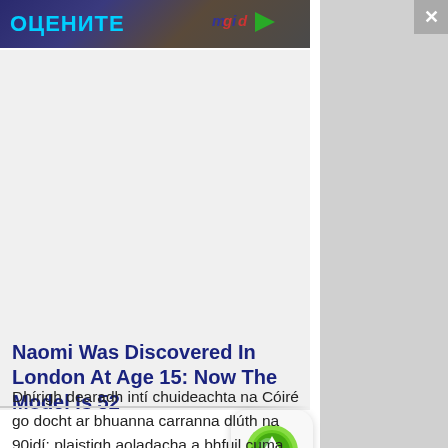[Figure (screenshot): Top banner advertisement with Cyrillic text 'ОЦЕНИТЕ' in cyan on dark background, and mgid logo/play button on the right]
[Figure (photo): Advertisement image area - gray placeholder]
[Figure (other): Right side gray panel]
Naomi Was Discovered In London At Age 15: Now The Model Is 52
[Figure (other): Green circular scroll-to-top button with upward arrow on white rounded square background]
Dhírigh dearadh intí chuideachta na Cóiré go docht ar bhuanna carranna dlúth na 90idí: plaistigh aoladacha a bhfuil cuma thar a bheith buan orthu